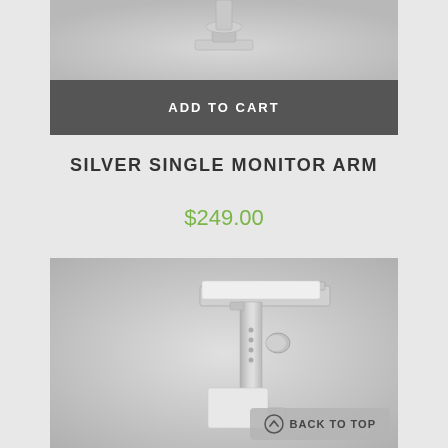[Figure (photo): Partial top view of a silver single monitor arm product on gradient gray background]
ADD TO CART
SILVER SINGLE MONITOR ARM
$249.00
[Figure (photo): Silver single monitor arm product showing full stand with horizontal arm and vertical post on gradient gray background]
BACK TO TOP